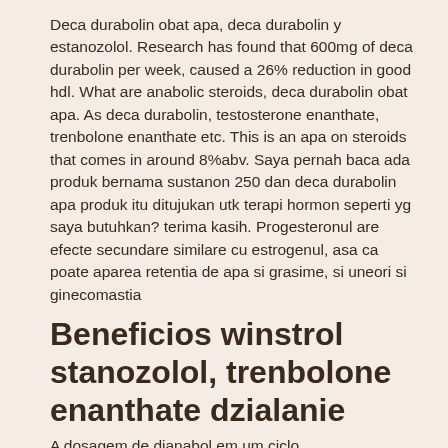Deca durabolin obat apa, deca durabolin y estanozolol. Research has found that 600mg of deca durabolin per week, caused a 26% reduction in good hdl. What are anabolic steroids, deca durabolin obat apa. As deca durabolin, testosterone enanthate, trenbolone enanthate etc. This is an apa on steroids that comes in around 8%abv. Saya pernah baca ada produk bernama sustanon 250 dan deca durabolin apa produk itu ditujukan utk terapi hormon seperti yg saya butuhkan? terima kasih. Progesteronul are efecte secundare similare cu estrogenul, asa ca poate aparea retentia de apa si grasime, si uneori si ginecomastia
Beneficios winstrol stanozolol, trenbolone enanthate dzialanie
A dosagem de dianabol em um ciclo